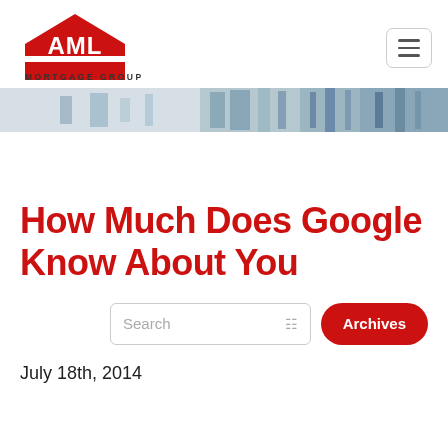[Figure (logo): AML Mortgage Group logo: red house shape with white AML letters inside, red horizontal line, text MORTGAGE GROUP below in dark letters]
[Figure (photo): Blurry banner photo of a building interior/exterior, muted blue and grey tones, used as a website header banner strip]
How Much Does Google Know About You
Search
Archives
July 18th, 2014